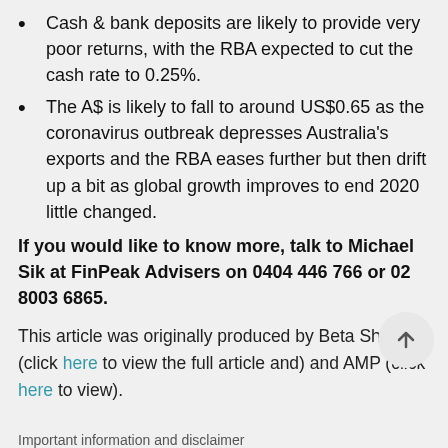Cash & bank deposits are likely to provide very poor returns, with the RBA expected to cut the cash rate to 0.25%.
The A$ is likely to fall to around US$0.65 as the coronavirus outbreak depresses Australia's exports and the RBA eases further but then drift up a bit as global growth improves to end 2020 little changed.
If you would like to know more, talk to Michael Sik at FinPeak Advisers on 0404 446 766 or 02 8003 6865.
This article was originally produced by BetaShares (click here to view the full article and) and AMP (click here to view).
Important information and disclaimer